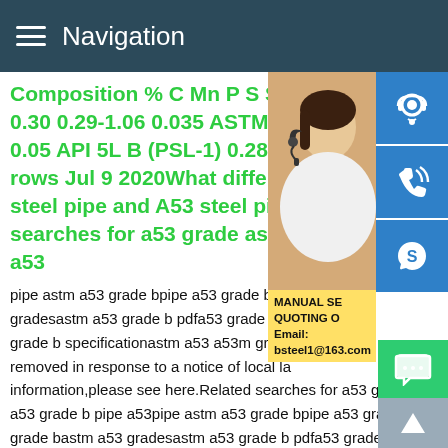Navigation
Composition % C Mn P S Si/ 0.30 0.29-1.06 0.035 ASTM A 0.05 API 5L B (PSL-1) 0.28 1. rows Jul 9 2020What differen steel pipe and A53 steel pipe searches for a53 grade astm a53
pipe astm a53 grade bpipe a53 grade ba53 gradesastm a53 grade b pdfa53 grade b p grade b specificationastm a53 a53m grade removed in response to a notice of local la information,please see here.Related searches for a53 grade astm a53 grade b pipe a53pipe astm a53 grade bpipe a53 grade ba53 grade bastm a53 gradesastm a53 grade b pdfa53 grade b pipe specificationa53 grade b specificationastm a53 a53m grade bPrevious123456NextASTM A53 Grade B Steel Pipe in High Quality and FastFirst and also important to know ASTM A53 G
[Figure (photo): Woman with headset smiling, customer service representative, with blue icon buttons for headset/phone/Skype and yellow MANUAL QUOTING info box with email bsteel1@163.com]